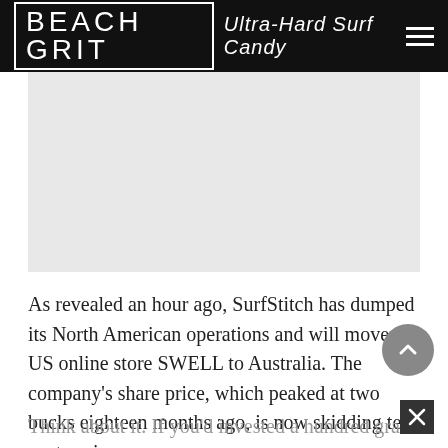BEACH GRIT Ultra-Hard Surf Candy
[Figure (other): Light gray placeholder image rectangle]
As revealed an hour ago, SurfStitch has dumped its North American operations and will move its US online store SWELL to Australia. The company's share price, which peaked at two bucks eighteen months ago, is now skidding ten cents apiece.
Think about it. If you'd invested a hundred grand in